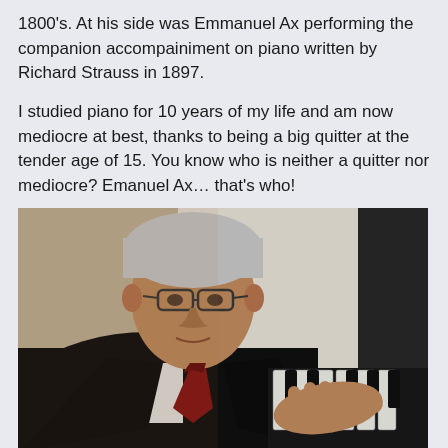1800's. At his side was Emmanuel Ax performing the companion accompainiment on piano written by Richard Strauss in 1897.
I studied piano for 10 years of my life and am now mediocre at best, thanks to being a big quitter at the tender age of 15. You know who is neither a quitter nor mediocre? Emanuel Ax… that's who!
[Figure (photo): Black and white toned photograph of Emanuel Ax, an older gentleman with white hair and glasses, wearing a dark suit and red tie, seated at a piano with his hand resting on the keys.]